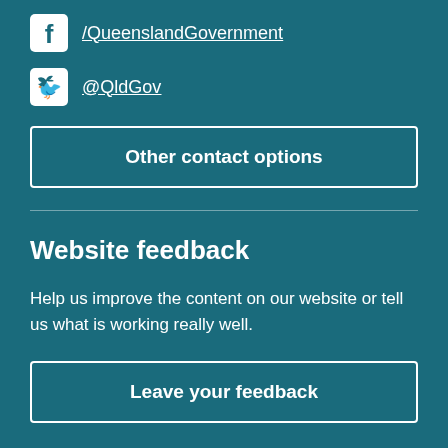/QueenslandGovernment
@QldGov
Other contact options
Website feedback
Help us improve the content on our website or tell us what is working really well.
Leave your feedback